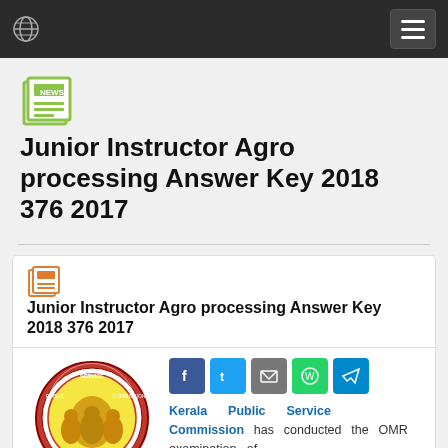Navigation bar with globe icon and hamburger menu
Junior Instructor Agro processing Answer Key 2018 376 2017
Junior Instructor Agro processing Answer Key 2018 376 2017
[Figure (logo): Kerala Public Service Commission seal/logo]
Kerala Public Service Commission has conducted the OMR examination of